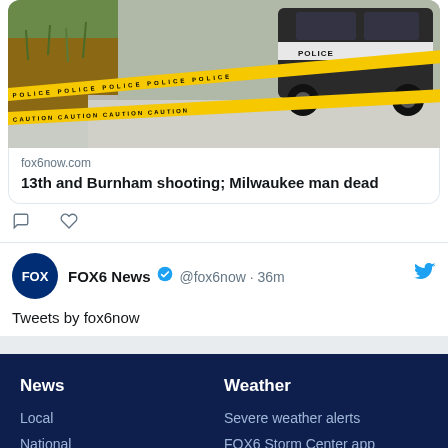[Figure (screenshot): Crime scene photo showing police car and yellow police tape on a sidewalk]
fox6now.com
13th and Burnham shooting; Milwaukee man dead
FOX6 News @fox6now · 36m
Tweets by fox6now
News
Local
National
Weather
Severe weather alerts
FOX6 Storm Center app